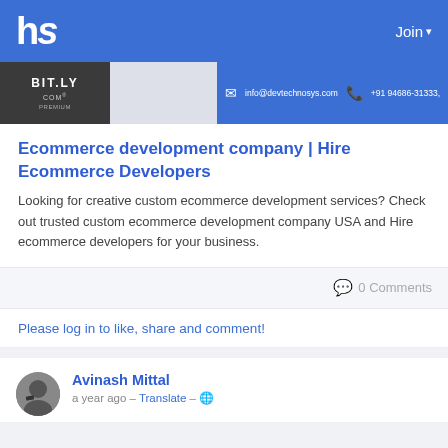hs  Join
[Figure (screenshot): Screenshot of a website banner showing BIT.LY text on dark background left side, and blue contact bar on right with email info@devtechnosys.com and phone +91 94686-31333]
Ecommerce development company | Hire Ecommerce Developers
Looking for creative custom ecommerce development services? Check out trusted custom ecommerce development company USA and Hire ecommerce developers for your business.
0 Comments
Please log in to like, share and comment!
Avinash Mittal
a year ago – Translate –